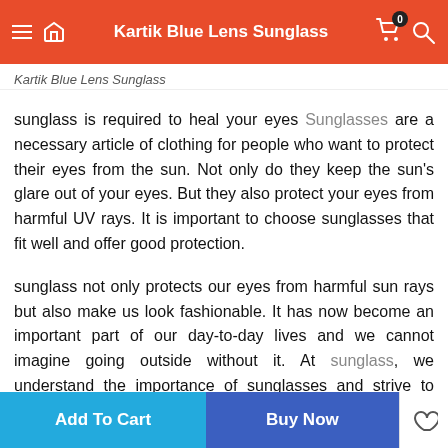Kartik Blue Lens Sunglass
Kartik Blue Lens Sunglass
sunglass is required to heal your eyes Sunglasses are a necessary article of clothing for people who want to protect their eyes from the sun. Not only do they keep the sun's glare out of your eyes. But they also protect your eyes from harmful UV rays. It is important to choose sunglasses that fit well and offer good protection.
sunglass not only protects our eyes from harmful sun rays but also make us look fashionable. It has now become an important part of our day-to-day lives and we cannot imagine going outside without it. At sunglass, we understand the importance of sunglasses and strive to provide our customers with the best possible products at the most affordable price.